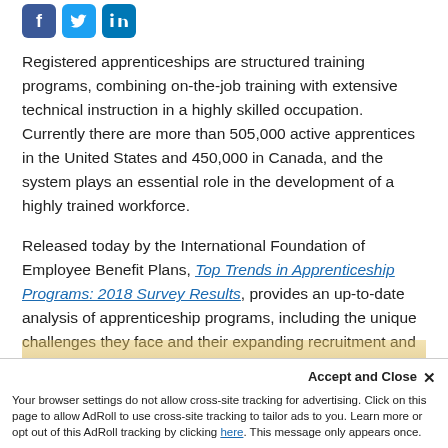[Figure (other): Social media share icons: Facebook (blue), Twitter (light blue), LinkedIn (blue)]
Registered apprenticeships are structured training programs, combining on-the-job training with extensive technical instruction in a highly skilled occupation. Currently there are more than 505,000 active apprentices in the United States and 450,000 in Canada, and the system plays an essential role in the development of a highly trained workforce.
Released today by the International Foundation of Employee Benefit Plans, Top Trends in Apprenticeship Programs: 2018 Survey Results, provides an up-to-date analysis of apprenticeship programs, including the unique challenges they face and their expanding recruitment and retention initiatives.
[Figure (photo): Partially visible image at bottom of page, appears to show a figure with golden/yellow tones]
Accept and Close ×
Your browser settings do not allow cross-site tracking for advertising. Click on this page to allow AdRoll to use cross-site tracking to tailor ads to you. Learn more or opt out of this AdRoll tracking by clicking here. This message only appears once.